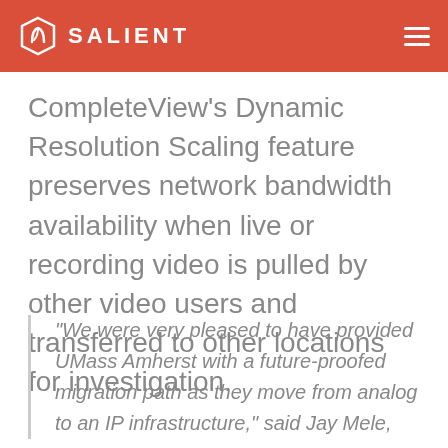SALIENT
CompleteView's Dynamic Resolution Scaling feature preserves network bandwidth availability when live or recording video is pulled by other video users and transferred to other locations for investigation.
“We were very pleased to have provided UMass Amherst with a future-proofed migration path as they move from analog to an IP infrastructure,” said Jay Mele,